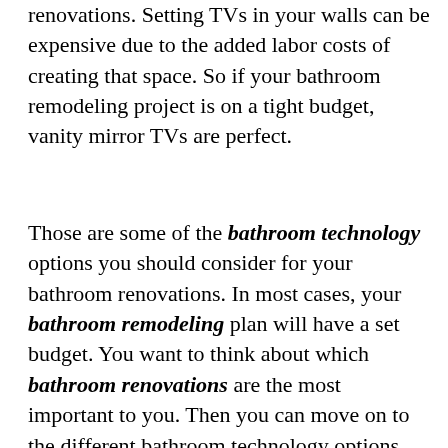renovations. Setting TVs in your walls can be expensive due to the added labor costs of creating that space. So if your bathroom remodeling project is on a tight budget, vanity mirror TVs are perfect.
Those are some of the bathroom technology options you should consider for your bathroom renovations. In most cases, your bathroom remodeling plan will have a set budget. You want to think about which bathroom renovations are the most important to you. Then you can move on to the different bathroom technology options for each add-on.